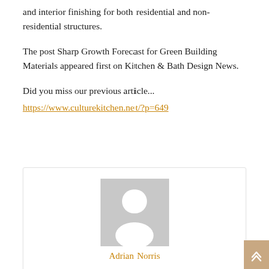and interior finishing for both residential and non-residential structures.
The post Sharp Growth Forecast for Green Building Materials appeared first on Kitchen & Bath Design News.
Did you miss our previous article...
https://www.culturekitchen.net/?p=649
[Figure (photo): Default user avatar placeholder image — grey square with white silhouette of a person]
Adrian Norris